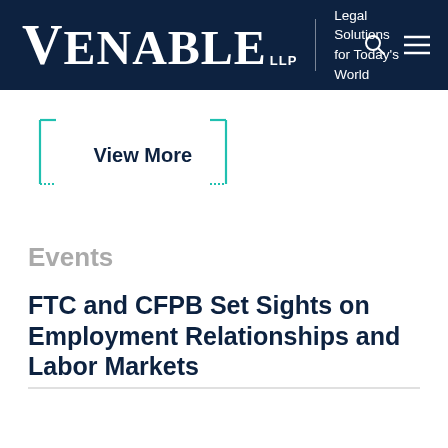[Figure (logo): Venable LLP logo with tagline 'Legal Solutions for Today's World' on dark navy background header with search and menu icons]
View More
Events
FTC and CFPB Set Sights on Employment Relationships and Labor Markets